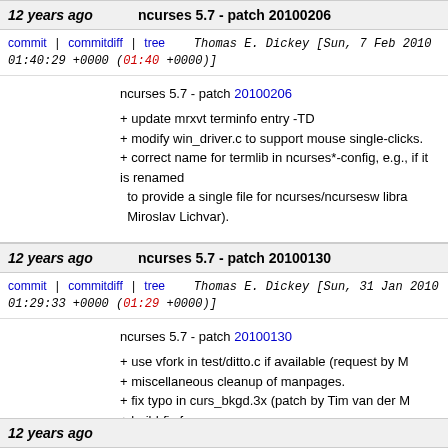12 years ago    ncurses 5.7 - patch 20100206
commit | commitdiff | tree    Thomas E. Dickey [Sun, 7 Feb 2010 01:40:29 +0000 (01:40 +0000)]
ncurses 5.7 - patch 20100206

+ update mrxvt terminfo entry -TD
+ modify win_driver.c to support mouse single-clicks.
+ correct name for termlib in ncurses*-config, e.g., if it is renamed
  to provide a single file for ncurses/ncursesw libra  Miroslav Lichvar).
12 years ago    ncurses 5.7 - patch 20100130
commit | commitdiff | tree    Thomas E. Dickey [Sun, 31 Jan 2010 01:29:33 +0000 (01:29 +0000)]
ncurses 5.7 - patch 20100130

+ use vfork in test/ditto.c if available (request by M
+ miscellaneous cleanup of manpages.
+ fix typo in curs_bkgd.3x (patch by Tim van der M
+ build-fix for --
srcdir (patch by Miroslav Lichvar).